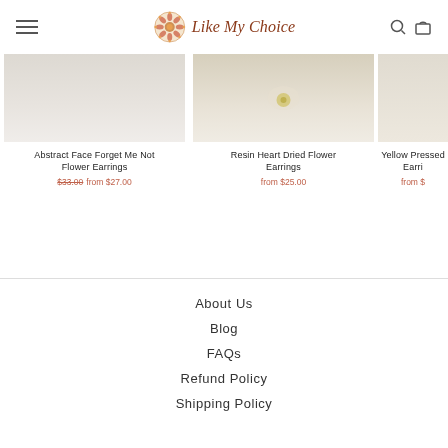Like My Choice - navigation header with hamburger menu, logo, search and cart icons
[Figure (photo): Product image for Abstract Face Forget Me Not Flower Earrings - light marble/stone background]
Abstract Face Forget Me Not Flower Earrings
$33.00 from $27.00
[Figure (photo): Product image for Resin Heart Dried Flower Earrings - cream background with small yellow flower]
Resin Heart Dried Flower Earrings
from $25.00
[Figure (photo): Product image for Yellow Pressed Earrings - partially visible]
Yellow Pressed Earri...
from $...
About Us
Blog
FAQs
Refund Policy
Shipping Policy